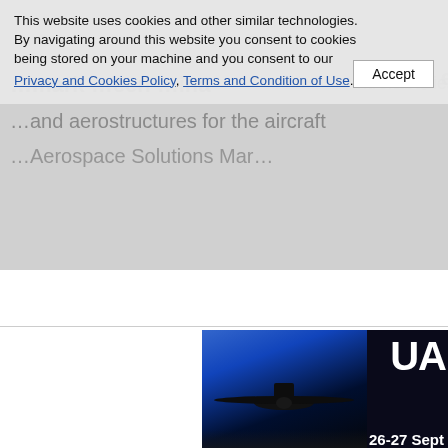This website uses cookies and other similar technologies. By navigating around this website you consent to cookies being stored on your machine and you consent to our Privacy and Cookies Policy, Terms and Condition of Use. Accept
[Figure (screenshot): Navigation bar with three menu items: News & Press-Releases, Defense Products & Services, Companies &]
[Figure (photo): UAV/drone banner image with a drone on a runway and text: UA 26-27 Sept]
Date: 02/07/2018
Companies & Organizations: BAE Systems | General Dynamics Co
Defense Products & Services Sectors: Aircraft components | Aircr
Countries: Denmark | Singapore | United States of America
Sources of Information: Terma A/S
Publish News & Press-Releases, Company Profile, Produc